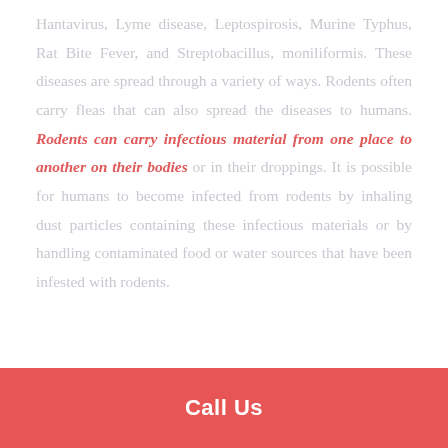Hantavirus, Lyme disease, Leptospirosis, Murine Typhus, Rat Bite Fever, and Streptobacillus, moniliformis. These diseases are spread through a variety of ways. Rodents often carry fleas that can also spread the diseases to humans. Rodents can carry infectious material from one place to another on their bodies or in their droppings. It is possible for humans to become infected from rodents by inhaling dust particles containing these infectious materials or by handling contaminated food or water sources that have been infested with rodents.
Call Us